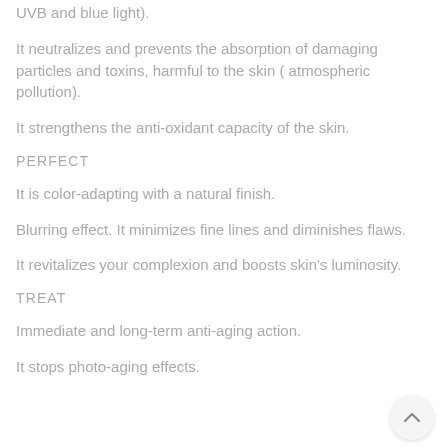UVB and blue light).
It neutralizes and prevents the absorption of damaging particles and toxins, harmful to the skin ( atmospheric pollution).
It strengthens the anti-oxidant capacity of the skin.
PERFECT
It is color-adapting with a natural finish.
Blurring effect. It minimizes fine lines and diminishes flaws.
It revitalizes your complexion and boosts skin's luminosity.
TREAT
Immediate and long-term anti-aging action.
It stops photo-aging effects.